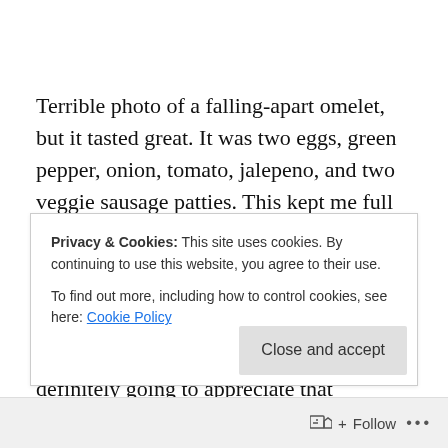Terrible photo of a falling-apart omelet, but it tasted great. It was two eggs, green pepper, onion, tomato, jalepeno, and two veggie sausage patties.  This kept me full for awhile!
I spent the rest of the morning researching laptops (mine is on its last leg and needs to be replaced asap). My bank account is definitely going to appreciate that purchase.  I also applied to two more full-time jobs which always takes
Privacy & Cookies: This site uses cookies. By continuing to use this website, you agree to their use.
To find out more, including how to control cookies, see here: Cookie Policy
Close and accept
Follow ...